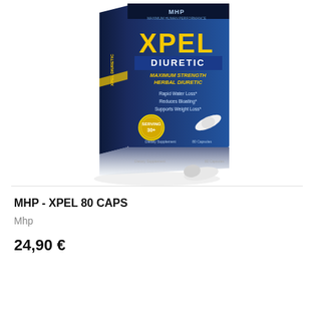[Figure (photo): Product photo of MHP XPEL Diuretic 80 capsules supplement box. Dark blue box with yellow 'XPEL' text, 'DIURETIC' subtitle, and 'Maximum Strength Herbal Diuretic' tagline. Lists benefits: Rapid Water Loss, Reduces Bloating, Supports Weight Loss. Shows capsule image and gold badge. MHP brand logo at top.]
MHP - XPEL 80 CAPS
Mhp
24,90 €